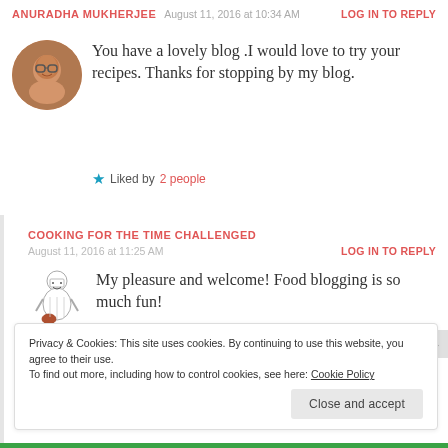ANURADHA MUKHERJEE  August 11, 2016 at 10:34 AM  LOG IN TO REPLY
You have a lovely blog .I would love to try your recipes. Thanks for stopping by my blog.
★ Liked by 2 people
COOKING FOR THE TIME CHALLENGED
August 11, 2016 at 11:25 AM  LOG IN TO REPLY
My pleasure and welcome! Food blogging is so much fun!
Privacy & Cookies: This site uses cookies. By continuing to use this website, you agree to their use. To find out more, including how to control cookies, see here: Cookie Policy